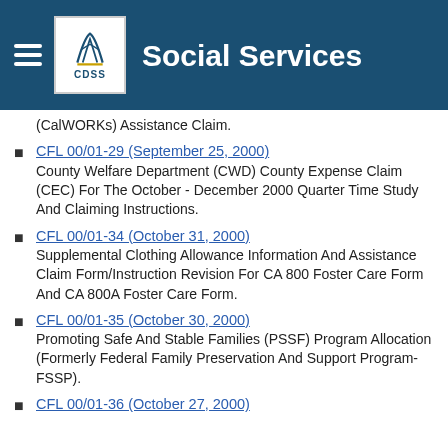Social Services
(CalWORKs) Assistance Claim.
CFL 00/01-29 (September 25, 2000) County Welfare Department (CWD) County Expense Claim (CEC) For The October - December 2000 Quarter Time Study And Claiming Instructions.
CFL 00/01-34 (October 31, 2000) Supplemental Clothing Allowance Information And Assistance Claim Form/Instruction Revision For CA 800 Foster Care Form And CA 800A Foster Care Form.
CFL 00/01-35 (October 30, 2000) Promoting Safe And Stable Families (PSSF) Program Allocation (Formerly Federal Family Preservation And Support Program-FSSP).
CFL 00/01-36 (October 27, 2000)